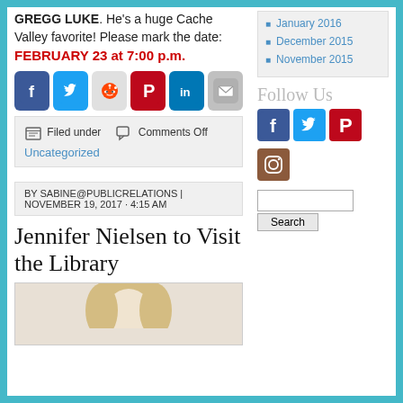GREGG LUKE. He's a huge Cache Valley favorite! Please mark the date: FEBRUARY 23 at 7:00 p.m.
[Figure (other): Row of social sharing icons: Facebook, Twitter, Reddit, Pinterest, LinkedIn, Email]
Filed under   Comments Off   Uncategorized
BY SABINE@PUBLICRELATIONS | NOVEMBER 19, 2017 · 4:15 AM
Jennifer Nielsen to Visit the Library
[Figure (photo): Photo of a blonde woman (Jennifer Nielsen), cropped to show upper portion]
January 2016
December 2015
November 2015
Follow Us
[Figure (other): Follow Us social icons: Facebook, Twitter, Pinterest, Instagram]
[Figure (other): Search box with Search button]